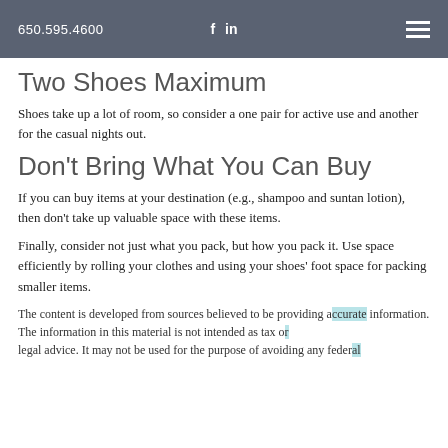650.595.4600   f   in
Two Shoes Maximum
Shoes take up a lot of room, so consider a one pair for active use and another for the casual nights out.
Don't Bring What You Can Buy
If you can buy items at your destination (e.g., shampoo and suntan lotion), then don't take up valuable space with these items.
Finally, consider not just what you pack, but how you pack it. Use space efficiently by rolling your clothes and using your shoes' foot space for packing smaller items.
The content is developed from sources believed to be providing accurate information. The information in this material is not intended as tax or legal advice. It may not be used for the purpose of avoiding any federal